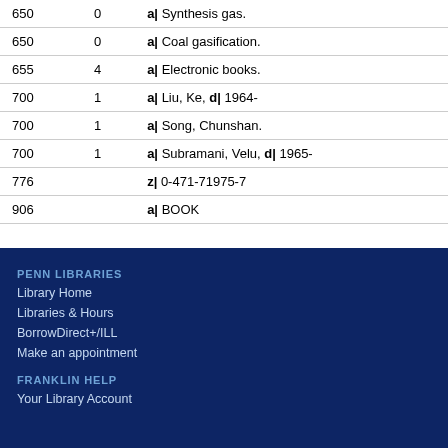| Tag | Ind | Fields |
| --- | --- | --- |
| 650 | 0 | a| Synthesis gas. |
| 650 | 0 | a| Coal gasification. |
| 655 | 4 | a| Electronic books. |
| 700 | 1 | a| Liu, Ke, d| 1964- |
| 700 | 1 | a| Song, Chunshan. |
| 700 | 1 | a| Subramani, Velu, d| 1965- |
| 776 |  | z| 0-471-71975-7 |
| 906 |  | a| BOOK |
PENN LIBRARIES
Library Home
Libraries & Hours
BorrowDirect+/ILL
Make an appointment
FRANKLIN HELP
Your Library Account